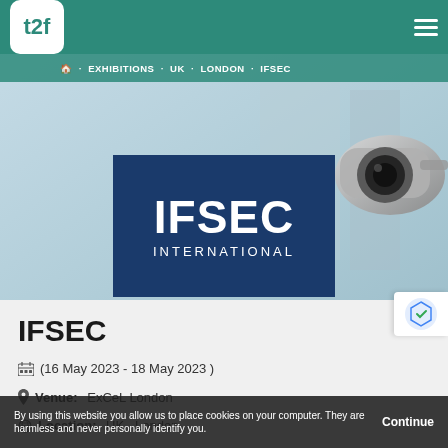[Figure (logo): t2f logo - white rounded square with teal t2f text]
🏠 · EXHIBITIONS · UK · LONDON · IFSEC
[Figure (photo): Hero banner with a security camera on a light blue sky background, and IFSEC International logo overlay on dark navy background]
IFSEC
📅 (16 May 2023 - 18 May 2023 )
📍 Venue: ExCeL London
🌐 Location: UK , London
By using this website you allow us to place cookies on your computer. They are harmless and never personally identify you.  Continue